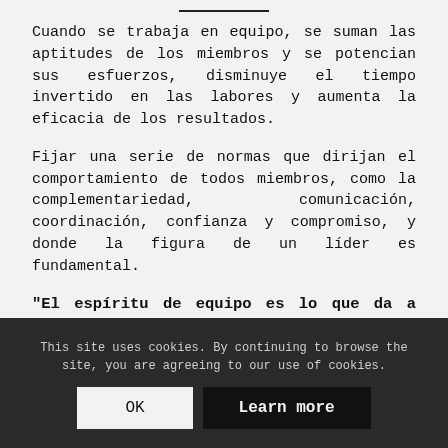Cuando se trabaja en equipo, se suman las aptitudes de los miembros y se potencian sus esfuerzos, disminuye el tiempo invertido en las labores y aumenta la eficacia de los resultados.
Fijar una serie de normas que dirijan el comportamiento de todos miembros, como la complementariedad, comunicación, coordinación, confianza y compromiso, y donde la figura de un líder es fundamental.
"El espíritu de equipo es lo que da a muchas empresas una ventaja sobre sus competidores", George Clements.
This site uses cookies. By continuing to browse the site, you are agreeing to our use of cookies. OK Learn more